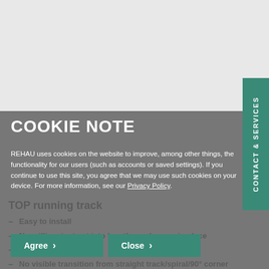[Figure (other): Top light gray background area representing product image placeholder]
COOKIE NOTE
REHAU uses cookies on the website to improve, among other things, the functionality for our users (such as accounts or saved settings). If you continue to use this site, you agree that we may use such cookies on your device. For more information, see our Privacy Policy.
TOP running track
Easy to install
No milling, just cut into lengths and screw in place
Suitable for retrofitting
No visible transition from straight track/spiral/90° corner for a high quality/